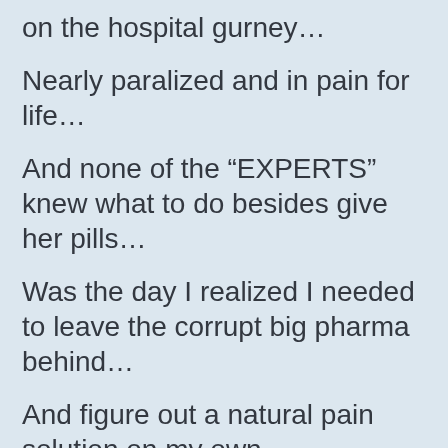on the hospital gurney…
Nearly paralized and in pain for life…
And none of the “EXPERTS” knew what to do besides give her pills…
Was the day I realized I needed to leave the corrupt big pharma behind…
And figure out a natural pain solution on my own.
Because look…
All those dirty rumours and secrets